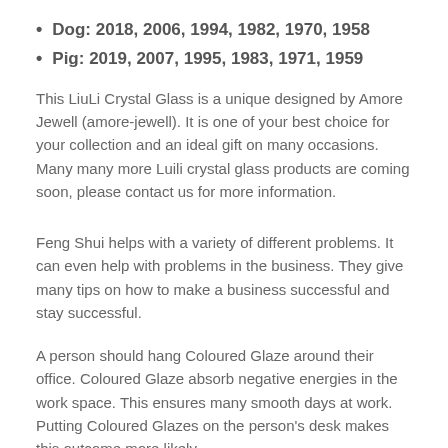Dog: 2018, 2006, 1994, 1982, 1970, 1958
Pig: 2019, 2007, 1995, 1983, 1971, 1959
This LiuLi Crystal Glass is a unique designed by Amore Jewell (amore-jewell). It is one of your best choice for your collection and an ideal gift on many occasions. Many many more Luili crystal glass products are coming soon, please contact us for more information.
Feng Shui helps with a variety of different problems. It can even help with problems in the business. They give many tips on how to make a business successful and stay successful.
A person should hang Coloured Glaze around their office. Coloured Glaze absorb negative energies in the work space. This ensures many smooth days at work. Putting Coloured Glazes on the person's desk makes this outcome more likely.